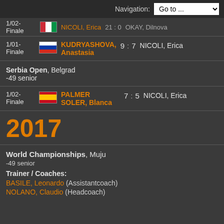Navigation: Go to ...
1/02- Finale   [flag: Italy] NICOLI, Erica   21 : 0   OKAY, Dilnoza
1/01-Finale   [flag: Russia] KUDRYASHOVA, Anastasia   9 : 7   NICOLI, Erica
Serbia Open, Belgrad -49 senior
1/02-Finale   [flag: Spain] PALMER SOLER, Blanca   7 : 5   NICOLI, Erica
2017
World Championships, Muju -49 senior
Trainer / Coaches:
BASILE, Leonardo (Assistantcoach)
NOLANO, Claudio (Headcoach)